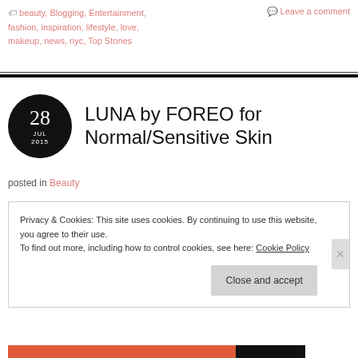🏷 beauty, Blogging, Entertainment, fashion, inspiration, lifestyle, love, makeup, news, nyc, Top Stories
💬 Leave a comment
LUNA by FOREO for Normal/Sensitive Skin
posted in Beauty
Privacy & Cookies: This site uses cookies. By continuing to use this website, you agree to their use.
To find out more, including how to control cookies, see here: Cookie Policy
Close and accept